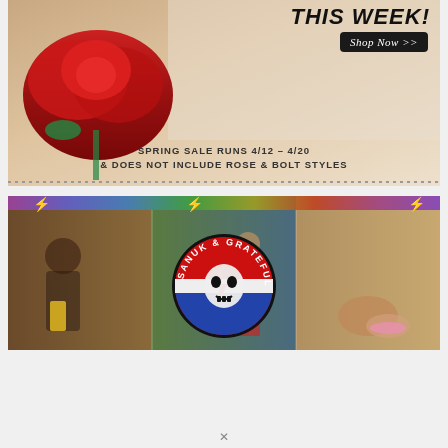[Figure (photo): Spring sale advertisement banner with a woman holding a red rose, text reading 'THIS WEEK! Shop Now >>' and 'SPRING SALE RUNS 4/12 - 4/20 & DOES NOT INCLUDE ROSE & BOLT STYLES']
[Figure (photo): Sanuk & Grateful Dead collaboration advertisement banner showing people outdoors with the Grateful Dead skull logo badge overlaid, featuring colorful tie-dye border]